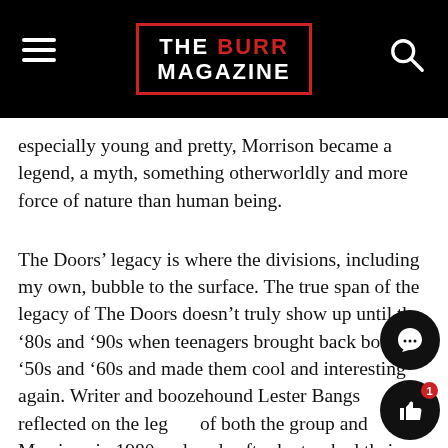THE BURR MAGAZINE
especially young and pretty, Morrison became a legend, a myth, something otherworldly and more force of nature than human being.
The Doors’ legacy is where the divisions, including my own, bubble to the surface. The true span of the legacy of The Doors doesn’t truly show up until the ‘80s and ‘90s when teenagers brought back both the ‘50s and ‘60s and made them cool and interesting again. Writer and boozehound Lester Bangs reflected on the legacy of both the group and Morrison in 1980, a decade after he torched their album “Morrison Hotel” for Rolling Stone.